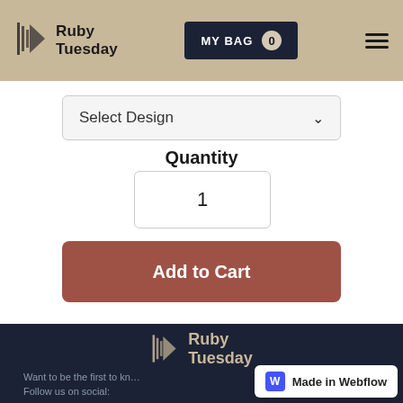Ruby Tuesday — MY BAG 0
Select Design
Quantity
1
Add to Cart
[Figure (logo): Ruby Tuesday footer logo in tan/gold color on dark navy background]
Want to be the first to kn… Follow us on social:
[Figure (logo): Made in Webflow badge — white rounded rectangle with blue W icon]